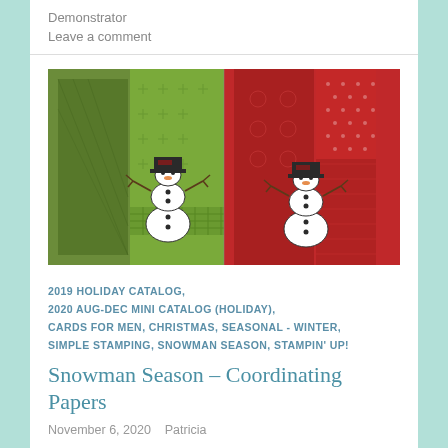Demonstrator
Leave a comment
[Figure (photo): Two handmade Christmas cards side by side. Left card has green patterned paper with houndstooth and plaid designs featuring a white snowman with black top hat and orange carrot nose. Right card has red patterned paper with snowflake designs featuring a similar white snowman with black top hat.]
2019 HOLIDAY CATALOG, 2020 AUG-DEC MINI CATALOG (HOLIDAY), CARDS FOR MEN, CHRISTMAS, SEASONAL - WINTER, SIMPLE STAMPING, SNOWMAN SEASON, STAMPIN' UP!
Snowman Season – Coordinating Papers
November 6, 2020   Patricia